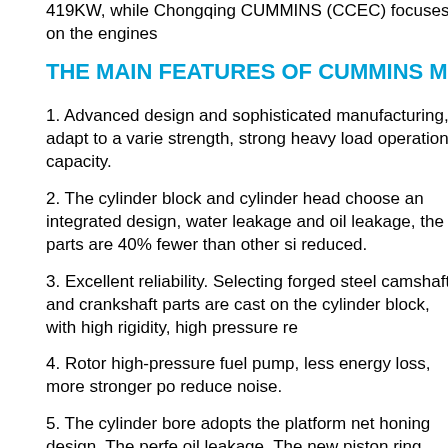419KW, while Chongqing CUMMINS (CCEC) focuses on the engines...
THE MAIN FEATURES OF CUMMINS MARINE DIES...
1. Advanced design and sophisticated manufacturing, adapt to a varie... strength, strong heavy load operation capacity.
2. The cylinder block and cylinder head choose an integrated design,... water leakage and oil leakage, the parts are 40% fewer than other si... reduced.
3. Excellent reliability. Selecting forged steel camshaft and crankshaft... parts are cast on the cylinder block, with high rigidity, high pressure re...
4. Rotor high-pressure fuel pump, less energy loss, more stronger po... reduce noise.
5. The cylinder bore adopts the platform net honing design. The perf... oil leakage. The new piston ring assembly and the gasket hemming m...
6. Three-stage fuel filtration ensures a balanced level of power disper... fuel system, and extends engine life to the maximum.
7. CUMMINS PT fuel system, ultra-high injection pressure, make sure...
8.Efficient Holset exhaust turbocharger can ensure more sufficient air... improve combustion, reduce engine fuel consumption, low speed res...